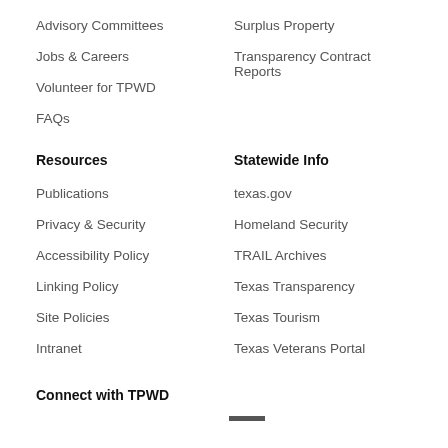Advisory Committees
Surplus Property
Jobs & Careers
Transparency Contract Reports
Volunteer for TPWD
FAQs
Resources
Statewide Info
Publications
texas.gov
Privacy & Security
Homeland Security
Accessibility Policy
TRAIL Archives
Linking Policy
Texas Transparency
Site Policies
Texas Tourism
Intranet
Texas Veterans Portal
Connect with TPWD